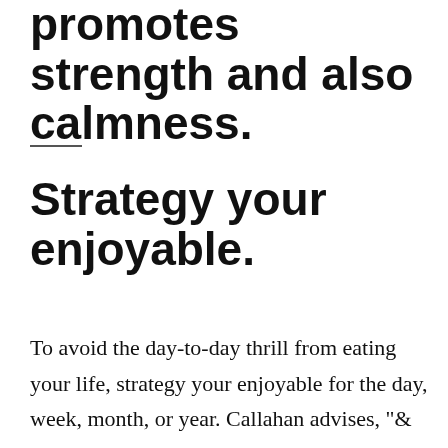promotes strength and also calmness.
Strategy your enjoyable.
To avoid the day-to-day thrill from eating your life, strategy your enjoyable for the day, week, month, or year. Callahan advises, "& ldquo; rather than network searching, make a day to view an unique program, alone or with